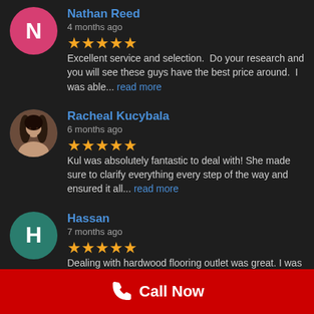Nathan Reed — 4 months ago — ★★★★★ Excellent service and selection. Do your research and you will see these guys have the best price around. I was able... read more
Racheal Kucybala — 6 months ago — ★★★★★ Kul was absolutely fantastic to deal with! She made sure to clarify everything every step of the way and ensured it all... read more
Hassan — 7 months ago — ★★★★★ Dealing with hardwood flooring outlet was great. I was able to find great quality vinyl flooring for a good price for... read more
Ravneet Sangha — 10 months ago
Call Now